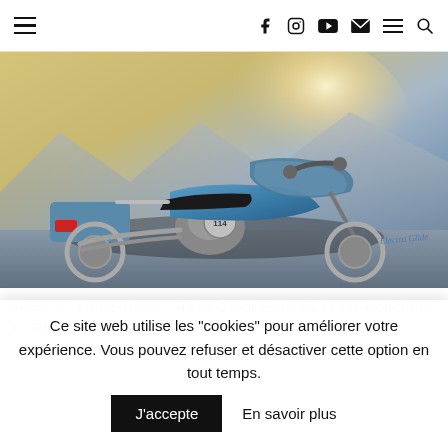≡  f  Instagram  YouTube  Mail  ≡  🔍
[Figure (photo): A blue and chrome Harley-Davidson touring motorcycle (Electra Glide, 114 engine) photographed in golden sunset light with mountains in the background.]
Home  >  Motorcycles  >  Harley-Davidson Unveils its new Collection: ICONS
Ce site web utilise les "cookies" pour améliorer votre expérience. Vous pouvez refuser et désactiver cette option en tout temps.
J'accepte   En savoir plus